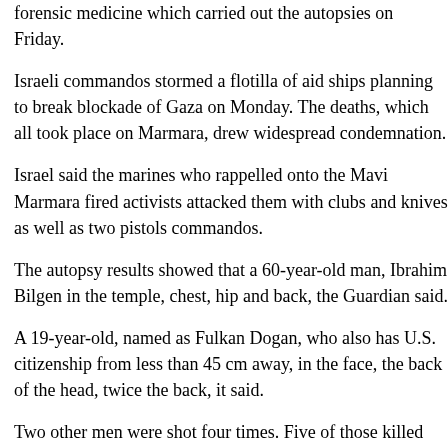forensic medicine which carried out the autopsies on Friday.
Israeli commandos stormed a flotilla of aid ships planning to break blockade of Gaza on Monday. The deaths, which all took place on Marmara, drew widespread condemnation.
Israel said the marines who rappelled onto the Mavi Marmara fired activists attacked them with clubs and knives as well as two pistols commandos.
The autopsy results showed that a 60-year-old man, Ibrahim Bilgen in the temple, chest, hip and back, the Guardian said.
A 19-year-old, named as Fulkan Dogan, who also has U.S. citizenship from less than 45 cm away, in the face, the back of the head, twice the back, it said.
Two other men were shot four times. Five of those killed were shot the head or in the back, the Guardian quoted Buyuk as saying.
In addition to those killed, 48 others suffered gunshot wounds and missing, he added.